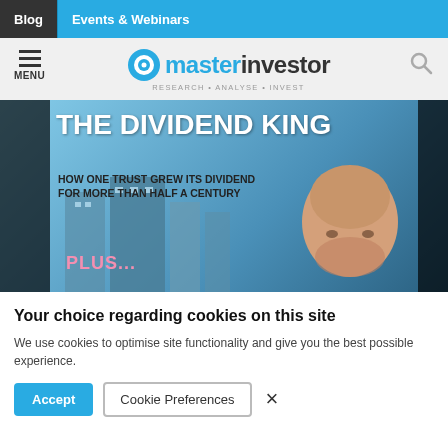Blog | Events & Webinars
[Figure (logo): Master Investor logo with hamburger menu and search icon on grey background. Tagline: RESEARCH • ANALYSE • INVEST]
[Figure (photo): Magazine cover: THE DIVIDEND KING - HOW ONE TRUST GREW ITS DIVIDEND FOR MORE THAN HALF A CENTURY. PLUS... with a man's face on a city skyline background.]
Your choice regarding cookies on this site
We use cookies to optimise site functionality and give you the best possible experience.
Accept | Cookie Preferences | ×